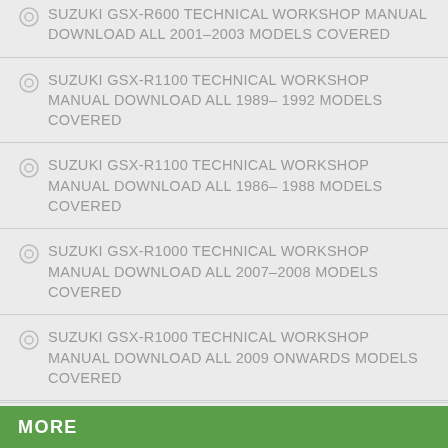SUZUKI GSX-R600 TECHNICAL WORKSHOP MANUAL DOWNLOAD ALL 2001-2003 MODELS COVERED
SUZUKI GSX-R1100 TECHNICAL WORKSHOP MANUAL DOWNLOAD ALL 1989-1992 MODELS COVERED
SUZUKI GSX-R1100 TECHNICAL WORKSHOP MANUAL DOWNLOAD ALL 1986-1988 MODELS COVERED
SUZUKI GSX-R1000 TECHNICAL WORKSHOP MANUAL DOWNLOAD ALL 2007-2008 MODELS COVERED
SUZUKI GSX-R1000 TECHNICAL WORKSHOP MANUAL DOWNLOAD ALL 2009 ONWARDS MODELS COVERED
MORE